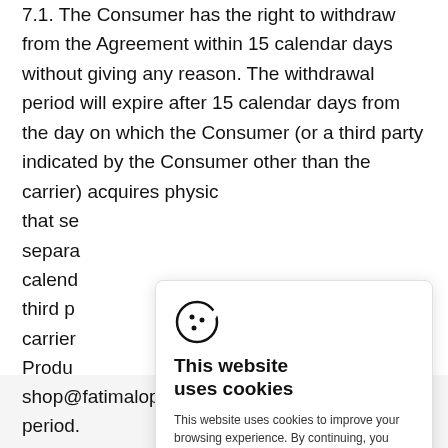7.1. The Consumer has the right to withdraw from the Agreement within 15 calendar days without giving any reason. The withdrawal period will expire after 15 calendar days from the day on which the Consumer (or a third party indicated by the Consumer other than the carrier) acquires physic
that se
separa
calend
third p
carrier
Produ
7.2. To
inform
Agree
Autho
email v
[Figure (illustration): Cookie consent popup overlay with cookie icon, title 'This website uses cookies', body text about cookies, Cookie Use Policy link, and CLOSE button]
shop@fatimalopes.com within the withdrawal period.